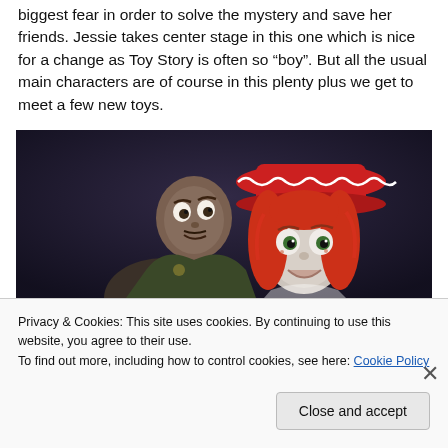biggest fear in order to solve the mystery and save her friends. Jessie takes center stage in this one which is nice for a change as Toy Story is often so “boy”. But all the usual main characters are of course in this plenty plus we get to meet a few new toys.
[Figure (photo): Screenshot from Toy Story showing two animated characters in a dark setting: a male toy figure on the left with an alarmed expression, and Jessie the cowgirl on the right with her distinctive red hat and wide eyes looking scared.]
Privacy & Cookies: This site uses cookies. By continuing to use this website, you agree to their use.
To find out more, including how to control cookies, see here: Cookie Policy